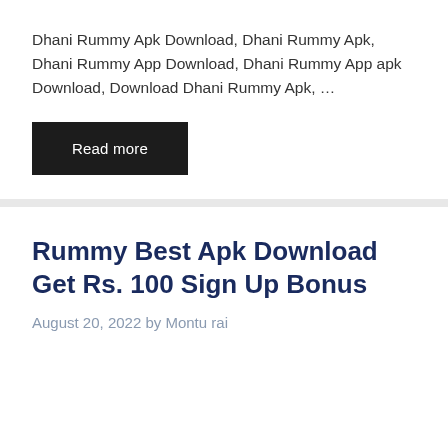Dhani Rummy Apk Download, Dhani Rummy Apk, Dhani Rummy App Download, Dhani Rummy App apk Download, Download Dhani Rummy Apk, ...
Read more
Rummy Best Apk Download Get Rs. 100 Sign Up Bonus
August 20, 2022 by Montu rai